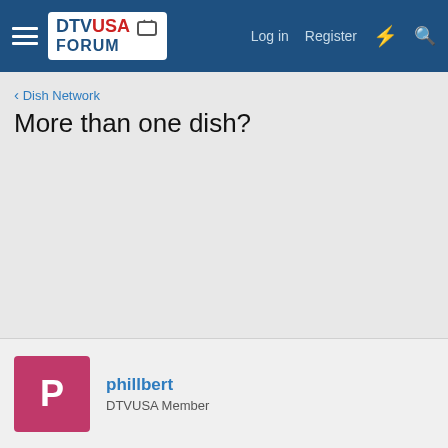DTV USA FORUM — Log in  Register
< Dish Network
More than one dish?
phillbert
DTVUSA Member